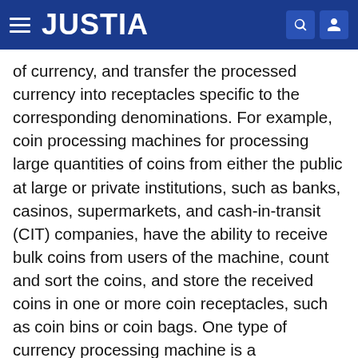JUSTIA
of currency, and transfer the processed currency into receptacles specific to the corresponding denominations. For example, coin processing machines for processing large quantities of coins from either the public at large or private institutions, such as banks, casinos, supermarkets, and cash-in-transit (CIT) companies, have the ability to receive bulk coins from users of the machine, count and sort the coins, and store the received coins in one or more coin receptacles, such as coin bins or coin bags. One type of currency processing machine is a redemption-type processing machine wherein, after the deposited coins and/or bank notes are counted, funds are returned to the user in a pre-selected manner, such as a payment ticket or voucher, a smartcard, a cash card, a gift card, and the like. Another variation is the deposit-type processing machine where funds which have been